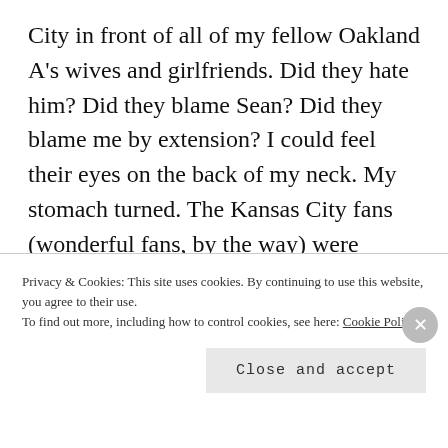City in front of all of my fellow Oakland A's wives and girlfriends. Did they hate him? Did they blame Sean? Did they blame me by extension? I could feel their eyes on the back of my neck. My stomach turned. The Kansas City fans (wonderful fans, by the way) were ecstatic. It was fucking pandemonium.
It's hard to watch Sean struggle in a
Privacy & Cookies: This site uses cookies. By continuing to use this website, you agree to their use.
To find out more, including how to control cookies, see here: Cookie Policy
Close and accept